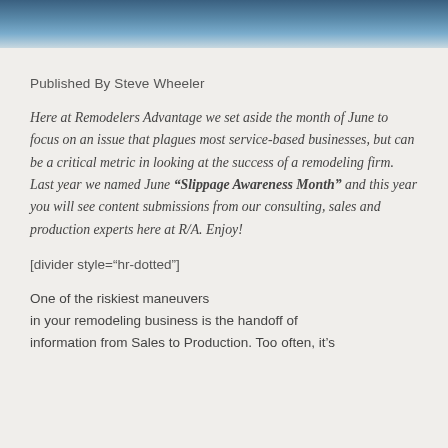[Figure (photo): Decorative header image with blue tones, appears to be an outdoor or architectural scene.]
Published By Steve Wheeler
Here at Remodelers Advantage we set aside the month of June to focus on an issue that plagues most service-based businesses, but can be a critical metric in looking at the success of a remodeling firm. Last year we named June “Slippage Awareness Month” and this year you will see content submissions from our consulting, sales and production experts here at R/A. Enjoy!
[divider style="hr-dotted"]
One of the riskiest maneuvers in your remodeling business is the handoff of information from Sales to Production. Too often, it’s